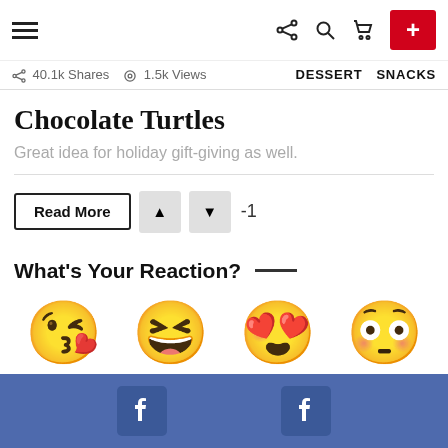Navigation bar with hamburger menu, share icon, search icon, cart icon, and red + button
40.1k Shares  1.5k Views  DESSERT  SNACKS
Chocolate Turtles
Great idea for holiday gift-giving as well.
Read More  ▲  ▼  -1
What's Your Reaction?
[Figure (infographic): Four emoji reaction faces: kiss/wink face, big laugh face, heart-eyes face, surprised face with counts 1, 0, 1, 0]
Facebook share buttons